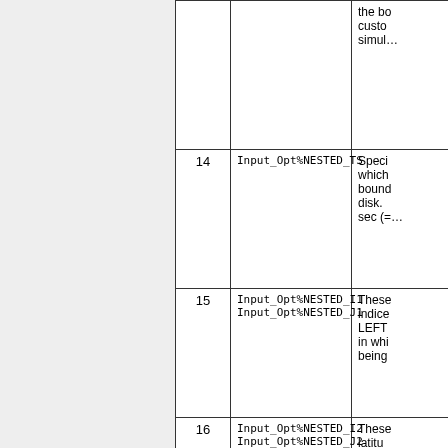| # | Name | Description |
| --- | --- | --- |
|  |  | the bo
custo
simu… |
| 14 | Input_Opt%NESTED_TS | Speci…
which…
boun…
disk.
sec (=… |
| 15 | Input_Opt%NESTED_I1
Input_Opt%NESTED_J1 | These
indice
LEFT
in whi
being… |
| 16 | Input_Opt%NESTED_I2
Input_Opt%NESTED_J2 | These
latitu
UPPE
windo
cond… |